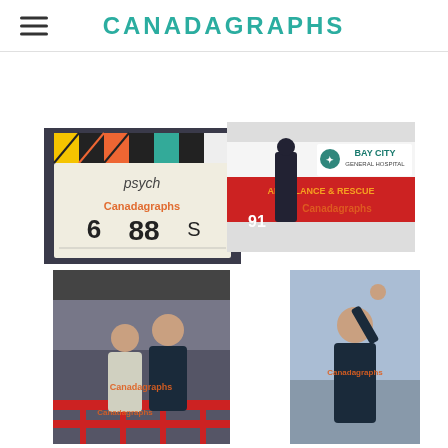CANADAGRAPHS
[Figure (photo): Clapperboard from Psych TV show, slate number 6 88 S, with Canadagraphs watermark in orange]
[Figure (photo): Actor walking in front of Bay City General Hospital ambulance and rescue vehicle, with Canadagraphs watermark in orange]
[Figure (photo): Two actors on set near red railing, with Canadagraphs watermarks in orange]
[Figure (photo): Actor raising hand on set, with Canadagraphs watermark in orange]